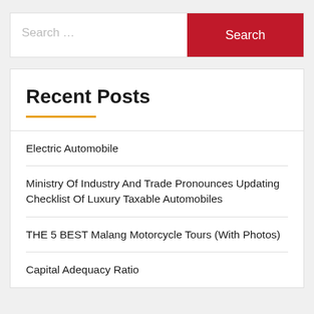Search …
Search
Recent Posts
Electric Automobile
Ministry Of Industry And Trade Pronounces Updating Checklist Of Luxury Taxable Automobiles
THE 5 BEST Malang Motorcycle Tours (With Photos)
Capital Adequacy Ratio